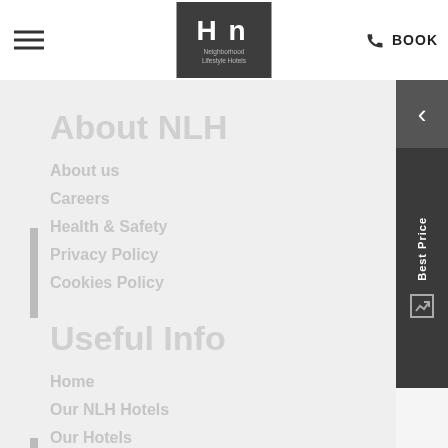[Figure (logo): NLH Neighborhood Lifestyle Hotels logo — white stylized H-n letters on dark grey square background with text below]
≡   [Logo: NLH Neighborhood Lifestyle Hotels]   ☎ BOOK
About NLH
About us
Careers
Health & Safety
Privacy Policy
Cookies Policy
Useful Info
Home
Our NLH Hotels
Our Hotels